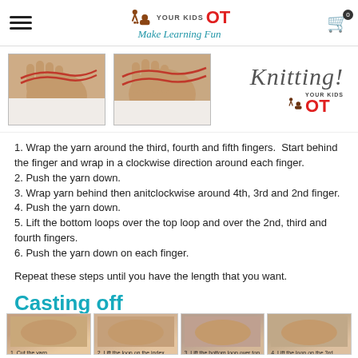YOUR KIDS OT — Make Learning Fun
[Figure (photo): Two photos of hands with red yarn for knitting, plus Knitting! script text and Your Kids OT logo]
1. Wrap the yarn around the third, fourth and fifth fingers.  Start behind the finger and wrap in a clockwise direction around each finger.
2. Push the yarn down.
3. Wrap yarn behind then anitclockwise around 4th, 3rd and 2nd finger.
4. Push the yarn down.
5. Lift the bottom loops over the top loop and over the 2nd, third and fourth fingers.
6. Push the yarn down on each finger.
Repeat these steps until you have the length that you want.
Casting off
[Figure (photo): Four step photos showing casting off: 1. Cut the yarn. 2. Lift the loop on the index finger over to 3rd finger. 3. Lift the bottom loop over top loop and off finger. 4. Lift the loop on the 3rd finger over to the 4th finger.]